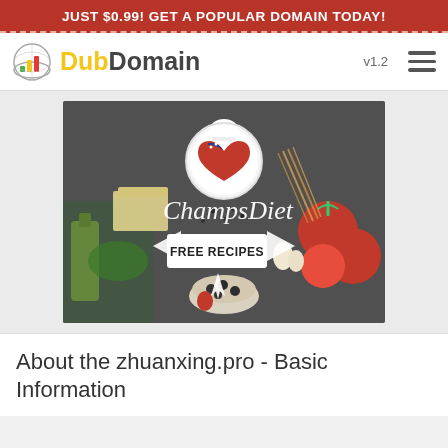JUST $0.99! GET A POPULAR DOMAIN TODAY!
[Figure (logo): DubDomain app header with colorful bar chart logo icon, 'DubDomain' text in yellow and grey, version 'v1.2', and hamburger menu icon]
[Figure (photo): ChampsDiet advertisement showing food ingredients (tomatoes, pasta, herbs, oil, cheese) on dark background with white script 'ChampsDiet' text, a circular American flag heart logo, and a white 'FREE RECIPES' button with arrow icons]
About the zhuanxing.pro - Basic Information